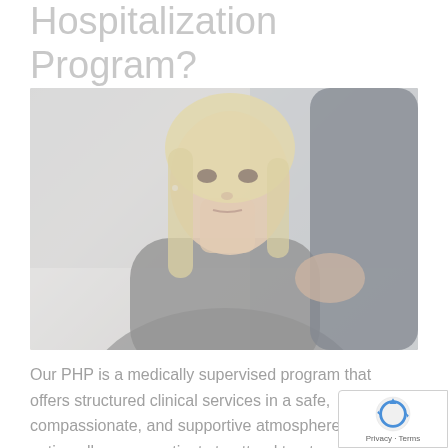Hospitalization Program?
[Figure (photo): A young woman with blonde hair wearing a grey hoodie, looking seriously at another person partially visible on the right side of the frame. The image has a faded, washed-out appearance.]
Our PHP is a medically supervised program that offers structured clinical services in a safe, compassionate, and supportive atmosphere. option allows our patients to attend treatment